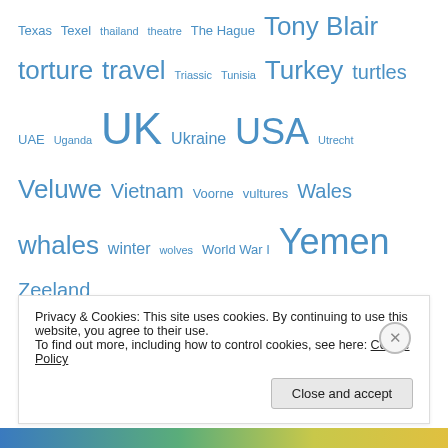Texas Texel thailand theatre The Hague Tony Blair torture travel Triassic Tunisia Turkey turtles UAE Uganda UK Ukraine USA Utrecht Veluwe Vietnam Voorne vultures Wales whales winter wolves World War I Yemen Zeeland
Top Posts & Pages
Top Ten of most beautiful snakes
Anne Frank censorship attempt fails
Auschwitz nazi criminals on trial, fifty years ago
Privacy & Cookies: This site uses cookies. By continuing to use this website, you agree to their use. To find out more, including how to control cookies, see here: Cookie Policy
Close and accept